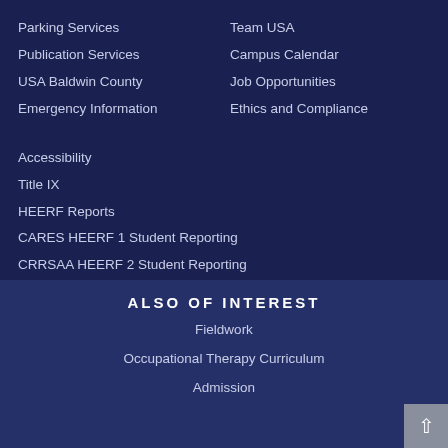Parking Services
Publication Services
USA Baldwin County
Emergency Information
Team USA
Campus Calendar
Job Opportunities
Ethics and Compliance
Accessibility
Title IX
HEERF Reports
CARES HEERF 1 Student Reporting
CRRSAA HEERF 2 Student Reporting
ARP HEERF 3 Student Reporting
Annual Security Report
Text Only
ALSO OF INTEREST
Fieldwork
Occupational Therapy Curriculum
Admission